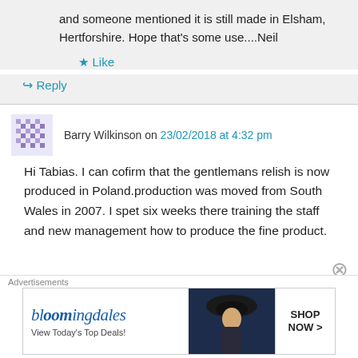and someone mentioned it is still made in Elsham, Hertforshire. Hope that's some use....Neil
★ Like
↪ Reply
Barry Wilkinson on 23/02/2018 at 4:32 pm
Hi Tabias. I can cofirm that the gentlemans relish is now produced in Poland.production was moved from South Wales in 2007. I spet six weeks there training the staff and new management how to produce the fine product.
Advertisements
[Figure (screenshot): Bloomingdales advertisement banner: logo text 'bloomingdales' in blue italic font, subtext 'View Today's Top Deals!', image of woman with hat, button 'SHOP NOW >']